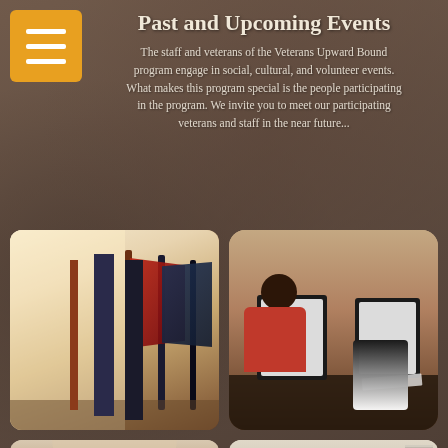Past and Upcoming Events
The staff and veterans of the Veterans Upward Bound program engage in social, cultural, and volunteer events. What makes this program special is the people participating in the program. We invite you to meet our participating veterans and staff in the near future...
[Figure (photo): Military flags displayed indoors near a window]
[Figure (photo): A smiling person in a red shirt sitting at a desk with two computer monitors]
[Figure (photo): Event scene with a Sears sign and people gathered indoors]
[Figure (photo): Presentation room with a projected screen and attendees seated]